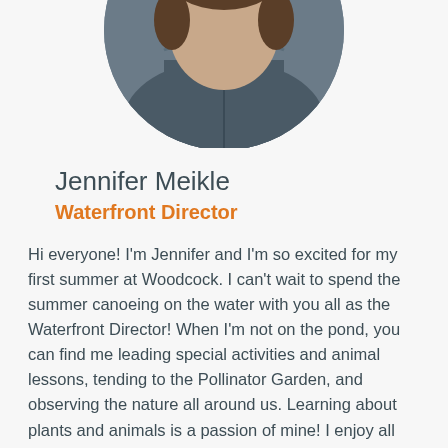[Figure (photo): Circular cropped photo of Jennifer Meikle wearing a dark blue/grey hoodie, partially visible at top of page]
Jennifer Meikle
Waterfront Director
Hi everyone! I'm Jennifer and I'm so excited for my first summer at Woodcock. I can't wait to spend the summer canoeing on the water with you all as the Waterfront Director! When I'm not on the pond, you can find me leading special activities and animal lessons, tending to the Pollinator Garden, and observing the nature all around us. Learning about plants and animals is a passion of mine! I enjoy all types of creating; I like crocheting, painting, jewelry making, and more. I also love to hike, rollerblade, longboard, climb